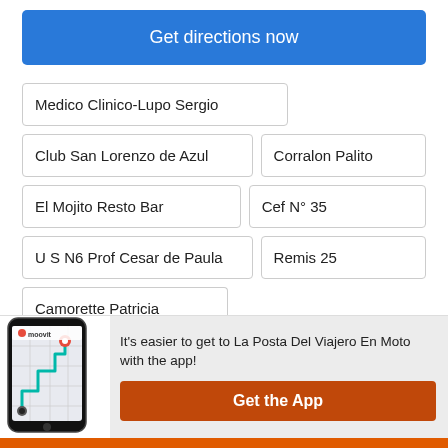Get directions now
Medico Clinico-Lupo Sergio
Club San Lorenzo de Azul
Corralon Palito
El Mojito Resto Bar
Cef N° 35
U S N6 Prof Cesar de Paula
Remis 25
Camorette Patricia
[Figure (screenshot): Moovit app phone mockup showing map route]
It's easier to get to La Posta Del Viajero En Moto with the app!
Get the App